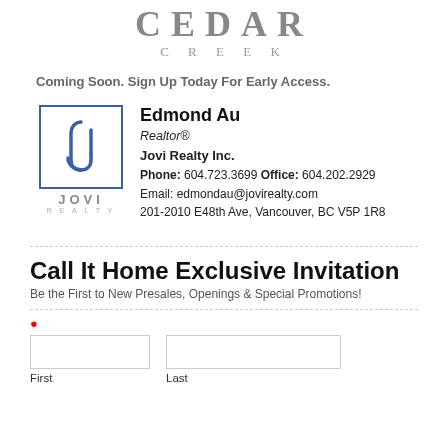[Figure (logo): Cedar Creek logo with large stylized text CEDAR CREEK in grey serif font]
Coming Soon. Sign Up Today For Early Access.
[Figure (logo): Jovi Realty logo - J icon in blue border box above JOVI REALTY text, with contact info: Edmond Au, Realtor, Jovi Realty Inc., Phone: 604.723.3699 Office: 604.202.2929, Email: edmondau@jovirealty.com, 201-2010 E48th Ave, Vancouver, BC V5P 1R8]
Call It Home Exclusive Invitation
Be the First to New Presales, Openings & Special Promotions!
* First / Last name fields